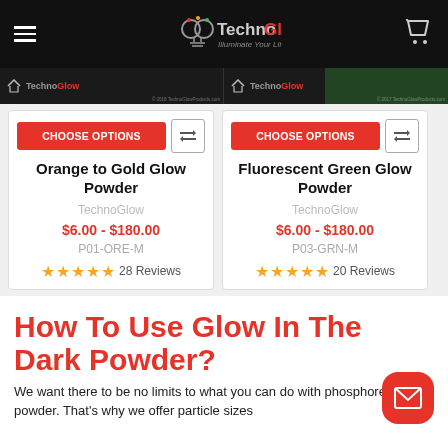TechnoGlow — Illuminate Your Life.
[Figure (screenshot): Two product thumbnail images side by side showing glow powder products with watermark logos]
[Figure (other): Product card: Orange to Gold Glow Powder, TechnoGlow, $6.00 - $180.00, P01-ORE-M, 5 stars, 28 Reviews]
[Figure (other): Product card: Fluorescent Green Glow Powder, TechnoGlow, $6.00 - $180.00, P03-GRN-M, 5 stars, 20 Reviews]
How To Use Glow In The Dark Powder?
We want there to be no limits to what you can do with phosphorescent powder. That's why we offer particle sizes